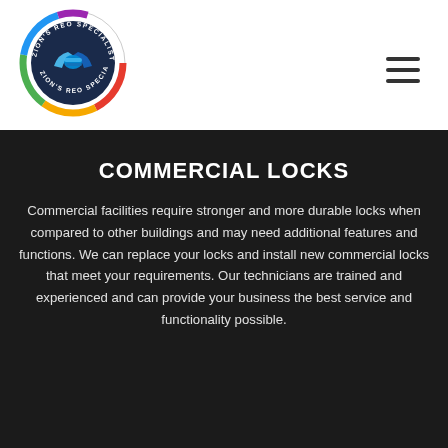[Figure (logo): Zion's REO Specialists circular logo with handshake graphic and colorful border]
[Figure (other): Hamburger menu icon with three horizontal lines]
COMMERCIAL LOCKS
Commercial facilities require stronger and more durable locks when compared to other buildings and may need additional features and functions. We can replace your locks and install new commercial locks that meet your requirements. Our technicians are trained and experienced and can provide your business the best service and functionality possible.